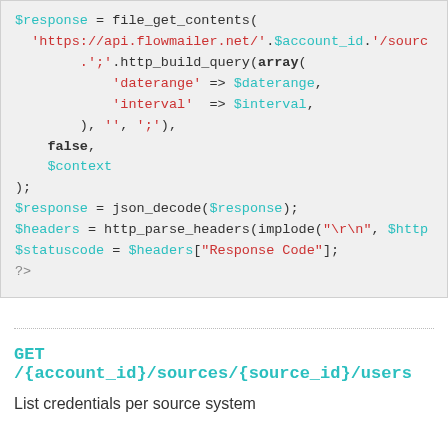$response = file_get_contents(
    'https://api.flowmailer.net/'.$account_id.'/sourc
        .';'.http_build_query(array(
            'daterange' => $daterange,
            'interval' => $interval,
        ), '', ';'),
    false,
    $context
);
$response = json_decode($response);
$headers = http_parse_headers(implode("\r\n", $http
$statuscode = $headers["Response Code"];
?>
GET /{account_id}/sources/{source_id}/users
List credentials per source system